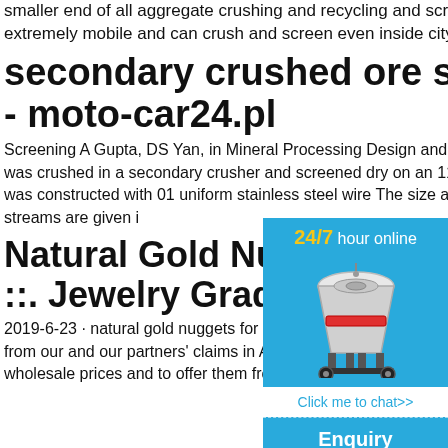smaller end of all aggregate crushing and recycling and screening Our equipment is extremely mobile and can crush and screen even inside city limits
secondary crushed ore screening - moto-car24.pl
Screening A Gupta, DS Yan, in Mineral Processing Design and Operation, 2006 113 A gold ore was crushed in a secondary crusher and screened dry on an 1180 micro e screen The screen was constructed with 01 uniform stainless steel wire The size analys oversize and undersize streams are given i
Natural Gold Nuggets R ::. Jewelry Grade Gold
2019-6-23 · natural gold nuggets for sale pinhead through ten ounce or more jewelry ts is from our and our partners' claims in Alas We are proud to be able to sell our nuggets for wholesale prices and to offer them from
[Figure (infographic): Sidebar widget showing '24/7 hour online' text in yellow/white, a cone crusher machine image, a 'Click me to chat>>' button, an 'Enquiry' section, and 'limingjlmofen' text at the bottom on a blue background.]